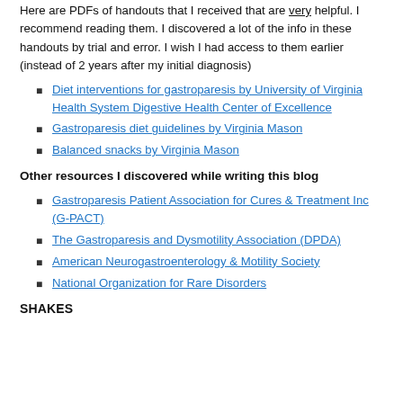Here are PDFs of handouts that I received that are very helpful. I recommend reading them. I discovered a lot of the info in these handouts by trial and error. I wish I had access to them earlier (instead of 2 years after my initial diagnosis)
Diet interventions for gastroparesis by University of Virginia Health System Digestive Health Center of Excellence
Gastroparesis diet guidelines by Virginia Mason
Balanced snacks by Virginia Mason
Other resources I discovered while writing this blog
Gastroparesis Patient Association for Cures & Treatment Inc (G-PACT)
The Gastroparesis and Dysmotility Association (DPDA)
American Neurogastroenterology & Motility Society
National Organization for Rare Disorders
SHAKES